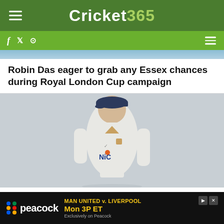Cricket 365
[Figure (screenshot): Cricket365 website screenshot showing navigation header with green background and logo]
Robin Das eager to grab any Essex chances during Royal London Cup campaign
[Figure (photo): Cricket player Gary Ballance in white Yorkshire cricket whites with NiC sponsor logo and navy cap, on grey background]
Gary Ballance blasts 95 on return to Yorkshire side
[Figure (infographic): Peacock advertisement banner: MAN UNITED v. LIVERPOOL Mon 3P ET Exclusively on Peacock]